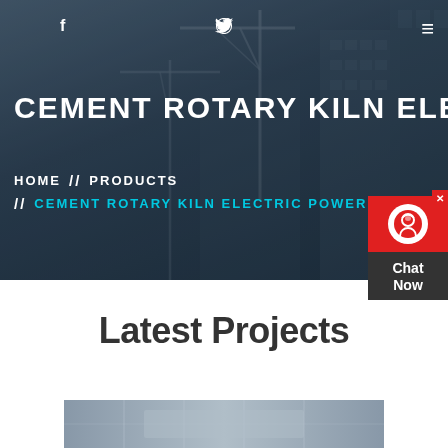f  (twitter)  (dribbble)  ≡
CEMENT ROTARY KILN ELECTRI
HOME  //  PRODUCTS  //  CEMENT ROTARY KILN ELECTRIC POWER SOUR
[Figure (photo): Chat Now widget with headset icon on red/dark background]
Latest Projects
[Figure (photo): Industrial/construction interior photograph showing scaffolding and concrete structure]